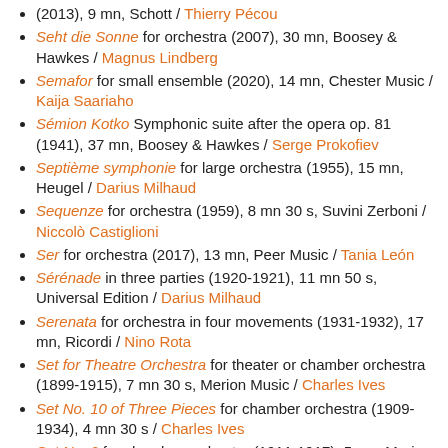(2013), 9 mn, Schott / Thierry Pécou
Seht die Sonne for orchestra (2007), 30 mn, Boosey & Hawkes / Magnus Lindberg
Semafor for small ensemble (2020), 14 mn, Chester Music / Kaija Saariaho
Sémion Kotko Symphonic suite after the opera op. 81 (1941), 37 mn, Boosey & Hawkes / Serge Prokofiev
Septième symphonie for large orchestra (1955), 15 mn, Heugel / Darius Milhaud
Sequenze for orchestra (1959), 8 mn 30 s, Suvini Zerboni / Niccolò Castiglioni
Ser for orchestra (2017), 13 mn, Peer Music / Tania León
Sérénade in three parties (1920-1921), 11 mn 50 s, Universal Edition / Darius Milhaud
Serenata for orchestra in four movements (1931-1932), 17 mn, Ricordi / Nino Rota
Set for Theatre Orchestra for theater or chamber orchestra (1899-1915), 7 mn 30 s, Merion Music / Charles Ives
Set No. 10 of Three Pieces for chamber orchestra (1909-1934), 4 mn 30 s / Charles Ives
Set No. 2 for chamber orchestra (1911-1917), 5 mn, Merion Music / Charles Ives
Set No. 3 for chamber orchestra (1912-1918), 3 mn 30 s